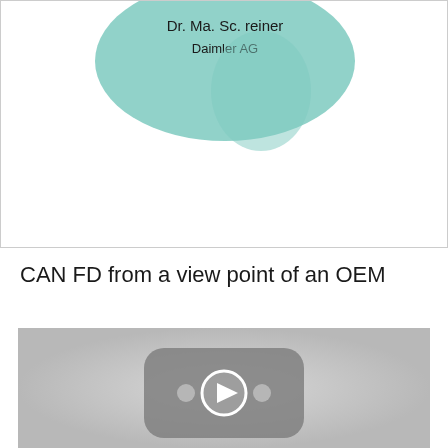[Figure (screenshot): Top portion of a presentation slide showing speaker name 'Dr. Ma. Sc. reiner' and affiliation 'Daimler AG' on a teal/green circular background, partially cropped]
CAN FD from a view point of an OEM
[Figure (screenshot): Video player thumbnail showing a YouTube-style play button interface on a gray background]